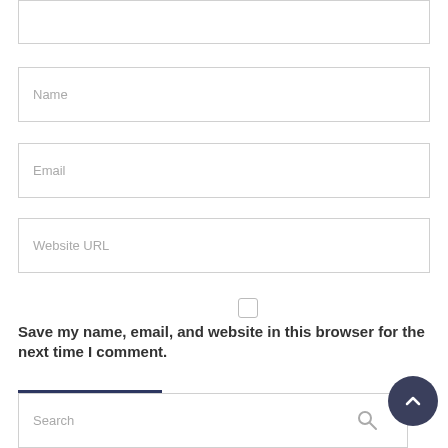Name
Email
Website URL
Save my name, email, and website in this browser for the next time I comment.
Add Comment
Search